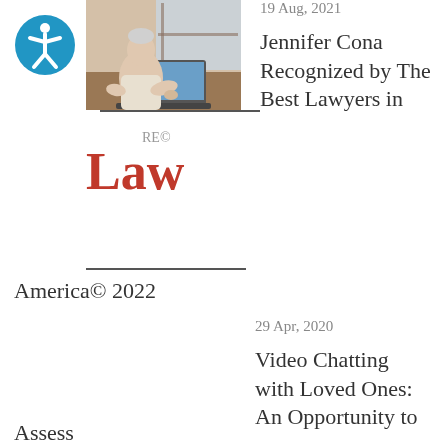[Figure (logo): Blue circle accessibility icon with white figure]
Direction
[Figure (logo): Best Lawyers / Law logo, red 'Law' text with grey 'RE' superscript]
19 Aug, 2021
Jennifer Cona Recognized by The Best Lawyers in America© 2022
[Figure (photo): Elderly man video chatting on laptop at a desk by a window]
29 Apr, 2020
Video Chatting with Loved Ones: An Opportunity to Assess